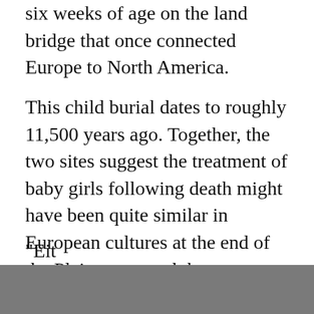six weeks of age on the land bridge that once connected Europe to North America.
This child burial dates to roughly 11,500 years ago. Together, the two sites suggest the treatment of baby girls following death might have been quite similar in European cultures at the end of the Pleistocene and the beginning of the Holocene.
"This implies that infant personhood inclusive of females has deeper origins in a common ancestral culture or that it arose in parallel in nearly contemporaneous populations across the planet," the authors write.
"Eit... the terminal Pleistocene and...